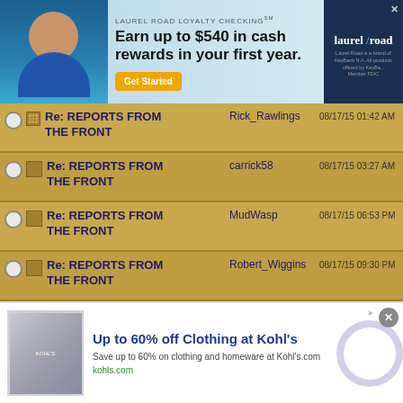[Figure (other): Laurel Road Loyalty Checking advertisement banner. Text: LAUREL ROAD LOYALTY CHECKING℠. Earn up to $540 in cash rewards in your first year. Get Started button. Laurel Road logo on right side.]
Re: REPORTS FROM THE FRONT | Rick_Rawlings | 08/17/15 01:42 AM
Re: REPORTS FROM THE FRONT | carrick58 | 08/17/15 03:27 AM
Re: REPORTS FROM THE FRONT | MudWasp | 08/17/15 06:53 PM
Re: REPORTS FROM THE FRONT | Robert_Wiggins | 08/17/15 09:30 PM
Re: REPORTS FROM THE FRONT | MudWasp | 08/17/15 09:37 PM
Re: REPORTS FROM THE FRONT | carrick58 | 08/19/15 03:38 AM
Re: REPORTS FROM... | carrick58 | (partial)
[Figure (other): Kohl's advertisement. Up to 60% off Clothing at Kohl's. Save up to 60% on clothing and homeware at Kohl's.com. kohls.com. Arrow button on right.]